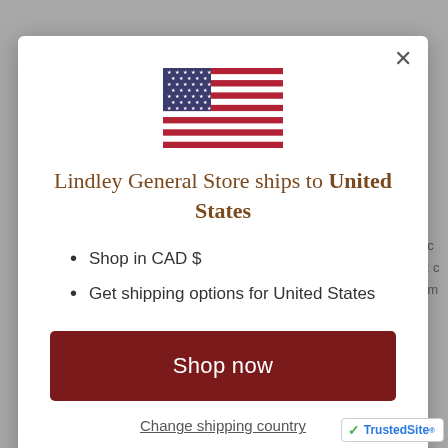[Figure (illustration): US flag SVG illustration centered at top of modal]
Lindley General Store ships to United States
Shop in CAD $
Get shipping options for United States
Shop now
Change shipping country